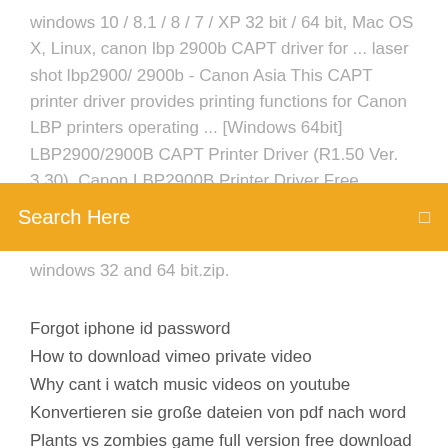windows 10 / 8.1 / 8 / 7 / XP 32 bit / 64 bit, Mac OS X, Linux, canon lbp 2900b CAPT driver for ... laser shot lbp2900/ 2900b - Canon Asia This CAPT printer driver provides printing functions for Canon LBP printers operating ... [Windows 64bit] LBP2900/2900B CAPT Printer Driver (R1.50 Ver. 3.30). Canon LBP2900B Printer Driver Free Download for Windows ... Jun 8,
[Figure (other): Orange search bar with text 'Search Here' and a search icon on the right]
windows 32 and 64 bit.zip.
Forgot iphone id password
How to download vimeo private video
Why cant i watch music videos on youtube
Konvertieren sie große dateien von pdf nach word
Plants vs zombies game full version free download for windows 8
Gta v low fps gtx 1070
Deutsche post porto zahlt empfänger download